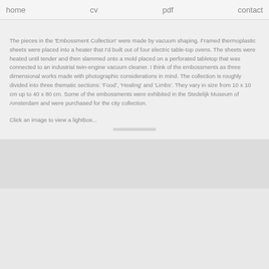home   cv   pdf   contact
The pieces in the 'Embossment Collection' were made by vacuum shaping. Framed thermoplastic sheets were placed into a heater that I'd built out of four electric table-top ovens. The sheets were heated until tender and then slammed onto a mold placed on a perforated tabletop that was connected to an industrial twin-engine vacuum cleaner. I think of the embossments as three dimensional works made with photographic considerations in mind. The collection is roughly divided into three thematic sections: 'Food', 'Healing' and 'Limbs'. They vary in size from 10 x 10 cm up to 40 x 80 cm. Some of the embossments were exhibited in the Stedelijk Museum of Amsterdam and were purchased for the city collection.
Click an image to view a lightbox...